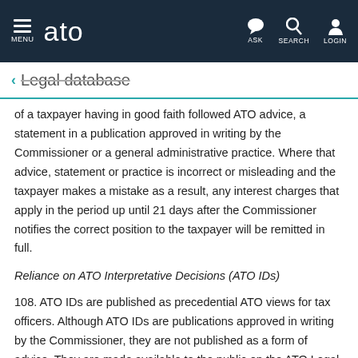MENU | ato | ASK | SEARCH | LOGIN
← Legal database
of a taxpayer having in good faith followed ATO advice, a statement in a publication approved in writing by the Commissioner or a general administrative practice. Where that advice, statement or practice is incorrect or misleading and the taxpayer makes a mistake as a result, any interest charges that apply in the period up until 21 days after the Commissioner notifies the correct position to the taxpayer will be remitted in full.
Reliance on ATO Interpretative Decisions (ATO IDs)
108. ATO IDs are published as precedential ATO views for tax officers. Although ATO IDs are publications approved in writing by the Commissioner, they are not published as a form of advice. They are made available to the public on the ATO Legal Database as a guide